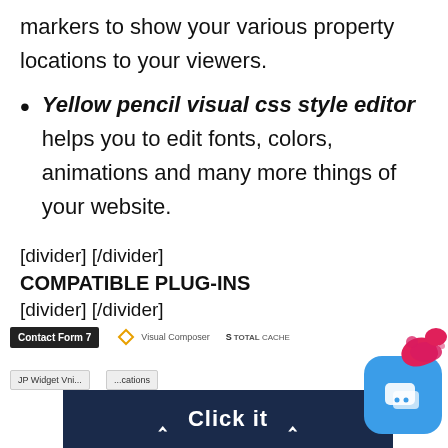markers to show your various property locations to your viewers.
Yellow pencil visual css style editor helps you to edit fonts, colors, animations and many more things of your website.
[divider] [/divider] COMPATIBLE PLUG-INS [divider] [/divider]
[Figure (logo): Logos for compatible plugins: Contact Form 7, Visual Composer, WP Total Cache, JP Widget Visibility, Locations]
Click it